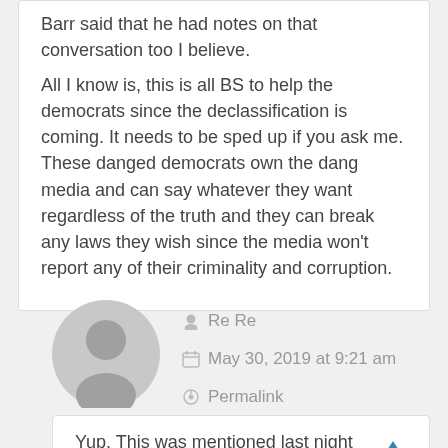Barr said that he had notes on that conversation too I believe. All I know is, this is all BS to help the democrats since the declassification is coming. It needs to be sped up if you ask me. These danged democrats own the dang media and can say whatever they want regardless of the truth and they can break any laws they wish since the media won't report any of their criminality and corruption.
Re Re
May 30, 2019 at 9:21 am
Permalink
Yup. This was mentioned last night on Fox.